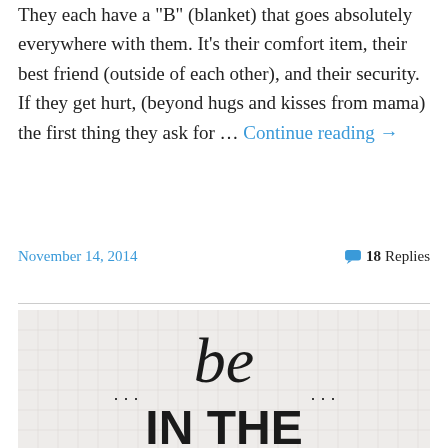They each have a "B" (blanket) that goes absolutely everywhere with them. It's their comfort item, their best friend (outside of each other), and their security. If they get hurt, (beyond hugs and kisses from mama) the first thing they ask for … Continue reading →
November 14, 2014
18 Replies
[Figure (photo): Handwritten lettering on grid paper showing '... be ...' in cursive script and 'IN THE' in bold block letters below]